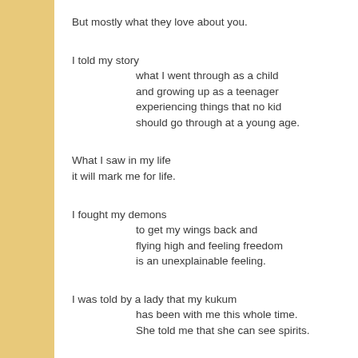But mostly what they love about you.
I told my story
	what I went through as a child
	and growing up as a teenager
	experiencing things that no kid
	should go through at a young age.
What I saw in my life
it will mark me for life.
I fought my demons
	to get my wings back and
	flying high and feeling freedom
	is an unexplainable feeling.
I was told by a lady that my kukum
	has been with me this whole time.
	She told me that she can see spirits.